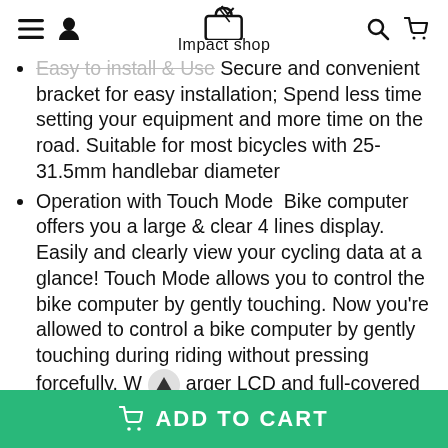Impact shop
Easy to install & Use  Secure and convenient bracket for easy installation; Spend less time setting your equipment and more time on the road. Suitable for most bicycles with 25-31.5mm handlebar diameter
Operation with Touch Mode  Bike computer offers you a large & clear 4 lines display. Easily and clearly view your cycling data at a glance! Touch Mode allows you to control the bike computer by gently touching. Now you're allowed to control a bike computer by gently touching during riding without pressing forcefully. W [scroll button] arger LCD and full-covered screen, showi... eed and other data more clearly